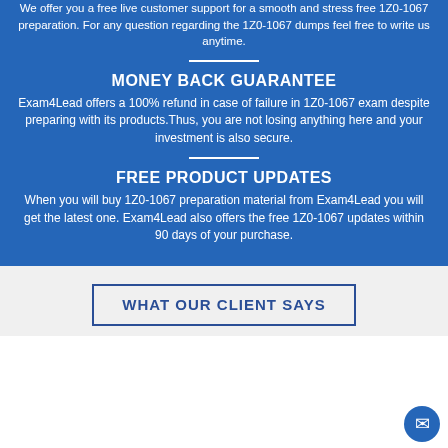We offer you a free live customer support for a smooth and stress free 1Z0-1067 preparation. For any question regarding the 1Z0-1067 dumps feel free to write us anytime.
MONEY BACK GUARANTEE
Exam4Lead offers a 100% refund in case of failure in 1Z0-1067 exam despite preparing with its products.Thus, you are not losing anything here and your investment is also secure.
FREE PRODUCT UPDATES
When you will buy 1Z0-1067 preparation material from Exam4Lead you will get the latest one. Exam4Lead also offers the free 1Z0-1067 updates within 90 days of your purchase.
WHAT OUR CLIENT SAYS